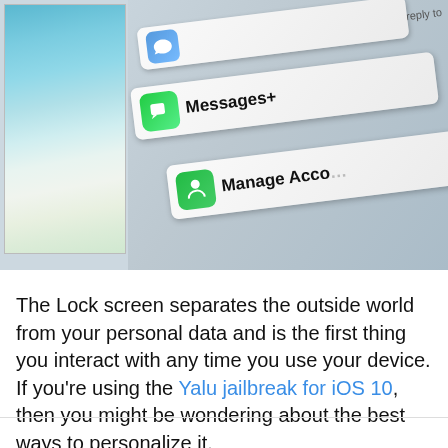[Figure (photo): A composite photo showing an iOS device lock screen on the left (with a scenic ocean/wave wallpaper) and app notification cards on the right including Messages+ and Manage Account options, all at an angle.]
The Lock screen separates the outside world from your personal data and is the first thing you interact with any time you use your device. If you're using the Yalu jailbreak for iOS 10, then you might be wondering about the best ways to personalize it.